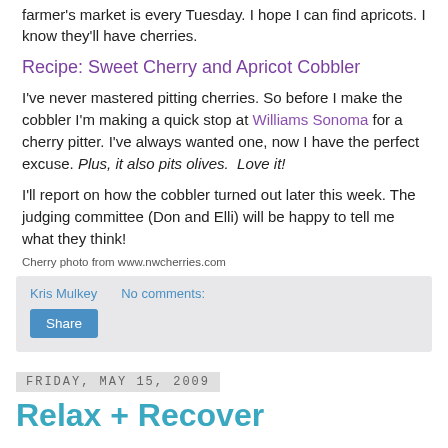farmer's market is every Tuesday. I hope I can find apricots. I know they'll have cherries.
Recipe: Sweet Cherry and Apricot Cobbler
I've never mastered pitting cherries. So before I make the cobbler I'm making a quick stop at Williams Sonoma for a cherry pitter. I've always wanted one, now I have the perfect excuse. Plus, it also pits olives.  Love it!
I'll report on how the cobbler turned out later this week. The judging committee (Don and Elli) will be happy to tell me what they think!
Cherry photo from www.nwcherries.com
Kris Mulkey   No comments:
Share
Friday, May 15, 2009
Relax + Recover